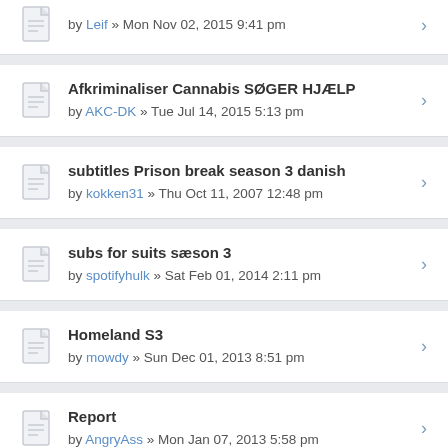by Leif » Mon Nov 02, 2015 9:41 pm
Afkriminaliser Cannabis SØGER HJÆLP
by AKC-DK » Tue Jul 14, 2015 5:13 pm
subtitles Prison break season 3 danish
by kokken31 » Thu Oct 11, 2007 12:48 pm
subs for suits sæson 3
by spotifyhulk » Sat Feb 01, 2014 2:11 pm
Homeland S3
by mowdy » Sun Dec 01, 2013 8:51 pm
Report
by AngryAss » Mon Jan 07, 2013 5:58 pm